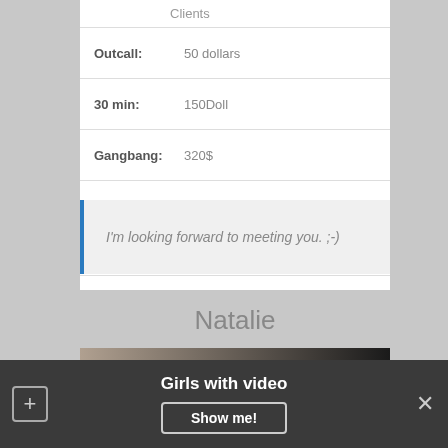Clients
| Outcall: | 50 dollars |
| 30 min: | 150Doll |
| Gangbang: | 320$ |
| Boobs: | Medium |
VIDEO
I'm looking forward to meeting you. ;-)
Natalie
[Figure (photo): Partial photo strip showing a dark/neutral background scene]
Girls with video
Show me!